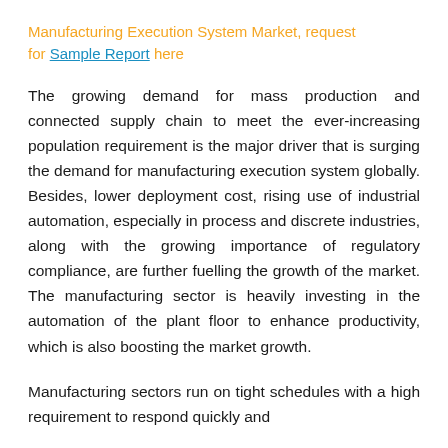Manufacturing Execution System Market, request for Sample Report here
The growing demand for mass production and connected supply chain to meet the ever-increasing population requirement is the major driver that is surging the demand for manufacturing execution system globally. Besides, lower deployment cost, rising use of industrial automation, especially in process and discrete industries, along with the growing importance of regulatory compliance, are further fuelling the growth of the market. The manufacturing sector is heavily investing in the automation of the plant floor to enhance productivity, which is also boosting the market growth.
Manufacturing sectors run on tight schedules with a high requirement to respond quickly and